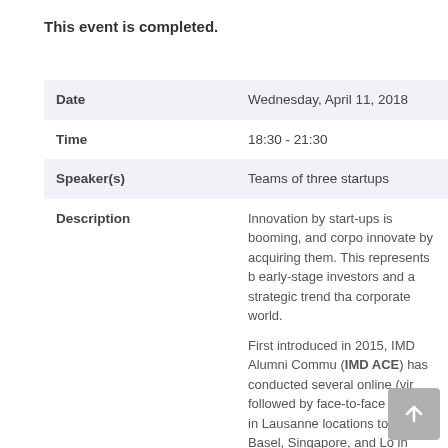This event is completed.
|  |  |
| --- | --- |
| Date | Wednesday, April 11, 2018 |
| Time | 18:30 - 21:30 |
| Speaker(s) | Teams of three startups |
| Description | Innovation by start-ups is booming, and corpo innovate by acquiring them. This represents b early-stage investors and a strategic trend tha corporate world.

First introduced in 2015, IMD Alumni Commu (IMD ACE) has conducted several online (vir followed by face-to-face events in Lausanne locations to Zurich, Basel, Singapore, and Lo in Sydney and Milan in 2018. We are now ex alumni in Sao Paolo area.

The topic is on how to inves connect with start-ups and/o |